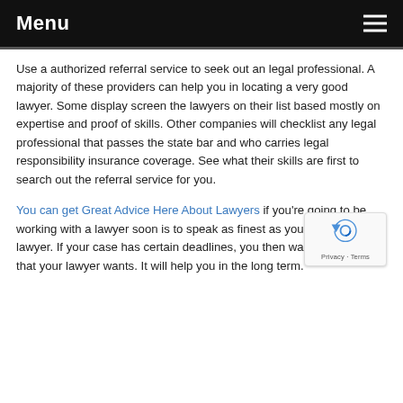Menu
Use a authorized referral service to seek out an legal professional. A majority of these providers can help you in locating a very good lawyer. Some display screen the lawyers on their list based mostly on expertise and proof of skills. Other companies will checklist any legal professional that passes the state bar and who carries legal responsibility insurance coverage. See what their skills are first to search out the referral service for you.
You can get Great Advice Here About Lawyers if you're going to be working with a lawyer soon is to speak as finest as you may with your lawyer. If your case has certain deadlines, you then want to provide all that your lawyer wants. It will help you in the long term.